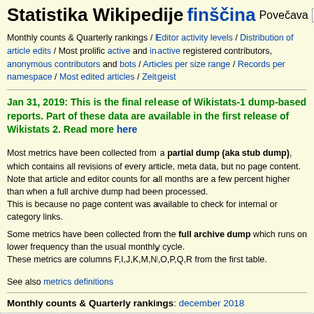Statistika Wikipedije finščina Povečava - + Domača s
Monthly counts & Quarterly rankings / Editor activity levels / Distribution of article edits / Most prolific active and inactive registered contributors, anonymous contributors and bots / Articles per size range / Records per namespace / Most edited articles / Zeitgeist
Jan 31, 2019: This is the final release of Wikistats-1 dump-based reports. Part of these data are available in the first release of Wikistats 2. Read more here
Most metrics have been collected from a partial dump (aka stub dump), which contains all revisions of every article, meta data, but no page content.
Note that article and editor counts for all months are a few percent higher than when a full archive dump had been processed.
This is because no page content was available to check for internal or category links.
Some metrics have been collected from the full archive dump which runs on lower frequency than the usual monthly cycle.
These metrics are columns F,I,J,K,M,N,O,P,Q,R from the first table.
See also metrics definitions
Monthly counts & Quarterly rankings: december 2018
| Datum | Wikipedisti | Članki |
| --- | --- | --- |